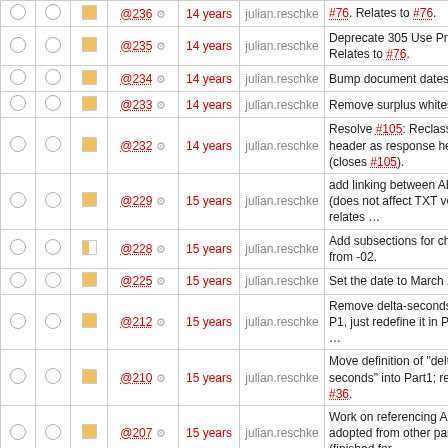|  |  |  | Rev | Age | Author | Description |
| --- | --- | --- | --- | --- | --- | --- |
| ○ | ○ | ■ | @236 ⚙ | 14 years | julian.reschke | #76. Relates to #76. |
| ○ | ○ | ■ | @235 ⚙ | 14 years | julian.reschke | Deprecate 305 Use Proxy. Relates to #76. |
| ○ | ○ | ■ | @234 ⚙ | 14 years | julian.reschke | Bump document dates. |
| ○ | ○ | ■ | @233 ⚙ | 14 years | julian.reschke | Remove surplus whitespace. |
| ○ | ○ | ■ | @232 ⚙ | 14 years | julian.reschke | Resolve #105: Reclassify Allow header as response header (closes #105). |
| ○ | ○ | ■ | @229 ⚙ | 15 years | julian.reschke | add linking between ABNF rules (does not affect TXT version), relates … |
| ○ | ○ | ■ | @228 ⚙ | 15 years | julian.reschke | Add subsections for changes from -02. |
| ○ | ○ | ■ | @225 ⚙ | 15 years | julian.reschke | Set the date to March 2008. |
| ○ | ○ | ■ | @212 ⚙ | 15 years | julian.reschke | Remove delta-seconds def from P1, just redefine it in P2 (revisits … |
| ○ | ○ | ■ | @210 ⚙ | 15 years | julian.reschke | Move definition of "delta-seconds" into Part1; relates to #36. |
| ○ | ○ | ■ | @207 ⚙ | 15 years | julian.reschke | Work on referencing ABNF rules adopted from other parts (finished for … |
| ○ | ○ | ■ | @206 ⚙ | 15 years | julian.reschke | Work on referencing ABNF rules adopted from other parts (done for P2 … |
| ○ | ○ | ■ | @205 ⚙ | 15 years | julian.reschke | Add sections that for now normatively reference the ABNF syntax and |